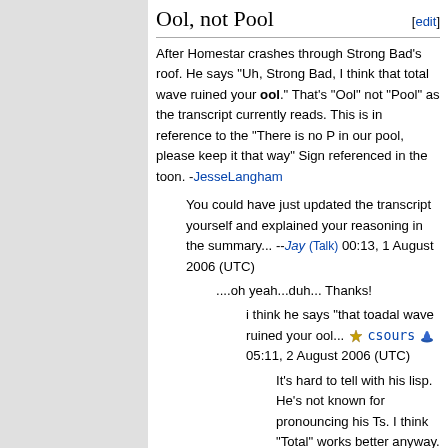Ool, not Pool
After Homestar crashes through Strong Bad's roof. He says "Uh, Strong Bad, I think that total wave ruined your ool." That's "Ool" not "Pool" as the transcript currently reads. This is in reference to the "There is no P in our pool, please keep it that way" Sign referenced in the toon. -JesseLangham
You could have just updated the transcript yourself and explained your reasoning in the summary... --Jay (Talk) 00:13, 1 August 2006 (UTC)
....oh yeah...duh... Thanks!
i think he says "that toadal wave ruined your ool... csours 05:11, 2 August 2006 (UTC)
It's hard to tell with his lisp. He's not known for pronouncing his Ts. I think "Total" works better anyway. -JesseLangham Aug. 02, 19:10:58 UTC